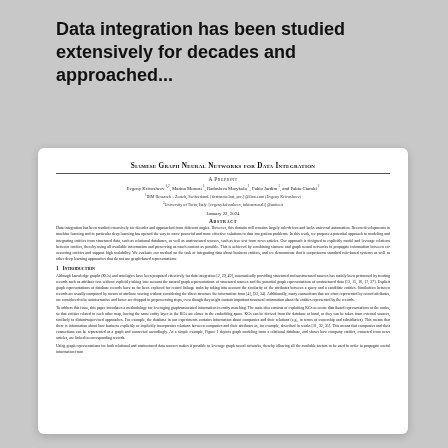Data integration has been studied extensively for decades and approached...
Siamese Graph Neural Networks for Data Integration
A Preprint
Evgeny Krivosheev 1,2, Marina Monosi 1, Radoslava Marykola 1, Fabio Jardim 1, and Fabio Ciambi 1
1IBM Research – Zurich, Switzerland. [firstname.last, pre.] @ibm.com (Evgeny Krivosheev)
2University of Turin, Italy. [evgeny.krivosheev, fabioarsenali] @unito.it
January 22, 2024
Abstract
Data integration has been studied extensively for decades and approached from different angles. However, this domain still remains largely rule-driven and lacks universal automation. Recent developments in machine learning and in particular deep learning has opened the way to more powerful and more effective solutions to data integration problems. In this work, we propose a potential approach to modeling and integrating entities from structured data, such as relational databases, as well as unstructured sources, such as free text from news articles. Our approach is designed to explicitly model and leverage relations between entities, thereby using all available information and preserving as much content as possible. This is achieved by combining siamese and graph neural networks to propagate information between co-occurring entities and support high scalability. We evaluate our method on the task of integrating data about business entities, and we demonstrate that it outperforms standard rule-based systems as well as other deep learning approaches that do not use graph-based representations.
1   Introduction
Although knowledge graphs (KGs) and ontologies have been proposed effectively for data integration [2, 29, 49], automatically providing structured and unstructured sources has mainly been performed by treating records such as attribute text without explicitly taking into account the natural graph representations of structured sources and the potential graph representations of unstructured data [13, 15, 16, 17, 37]. Explicit graph representations of database records have so far been explored for record linkage tasks by taking into account the similarity of the attributes between a query and a candidate entities. Similarities between records are usually computed by means of attribute scoring without considering the direct structure the information from [4], [33, 34]. Additionally, many connections that are often represented by record attributes, are considered to be uninformative and hence are dropped in preprocessing steps, even though they might contain important structural information about the entities represented by the records.
To address this issue, this paper introduces a methodology for leveraging graph-associated information in entity matching. The main idea consists of exploiting KGs to create distributed representations of the nodes, so that entities related to each other map, having the same entity layer in the KGs are closer in the embedding space. KGs can be derived from the database at hand, or they can be taken from external sources, similarly to distant-supervised approaches. For example, the database in our experiments contains information about companies and their relations (e.g., in terms of ownership and subsidiaries). This means that there is information about how business explicitly or implicitly incorporates relations between companies and their attributes as, for example, described in works [31, 32, 35]. This means that companies and their connections can be represented as a graph and connected accordingly. As a simple example, Figure 1 depicts graph modeling from a relational database, and shows how company entities, extracted from news articles, are linked to corresponding records.
Using graph representations for both relational and unstructured data sources makes it possible to leverage graph neural networks, thereby allowing all the available factors to be used in order to propagate useful information from